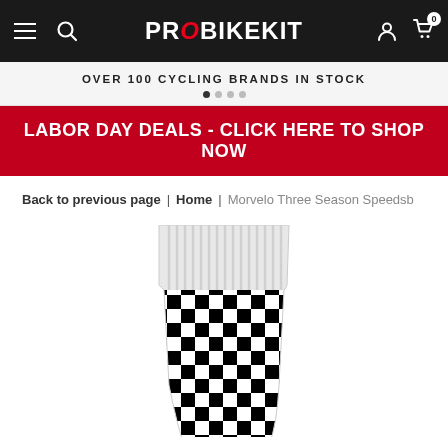PRO BIKEKIT
OVER 100 CYCLING BRANDS IN STOCK
LABOR DAY DEALS - CLICK HERE TO SHOP NOW
Back to previous page | Home | Morvelo Three Season Speedsb
[Figure (photo): A cycling sock with black and white checkerboard pattern, white cuff at top, cropped showing the upper and mid portion of the sock]